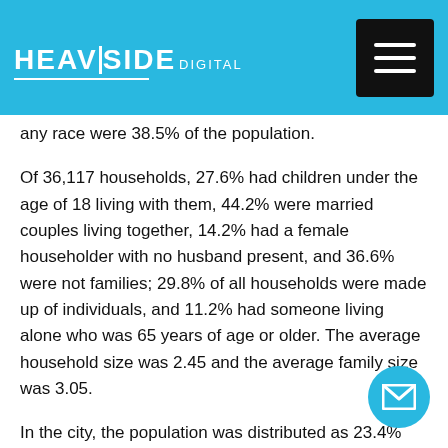HEAVISIDE DIGITAL
any race were 38.5% of the population.
Of 36,117 households, 27.6% had children under the age of 18 living with them, 44.2% were married couples living together, 14.2% had a female householder with no husband present, and 36.6% were not families; 29.8% of all households were made up of individuals, and 11.2% had someone living alone who was 65 years of age or older. The average household size was 2.45 and the average family size was 3.05.
In the city, the population was distributed as 23.4% under the age of 18 and 13.8% who were 65 years of age or older. The median age was 32.8 years. The population was 48.7% male and 51.3% female.
The median income for a household in the city was $38 for a family was $49,640. Males had a median income of / versus $26,750 for females. The per capita income for the city